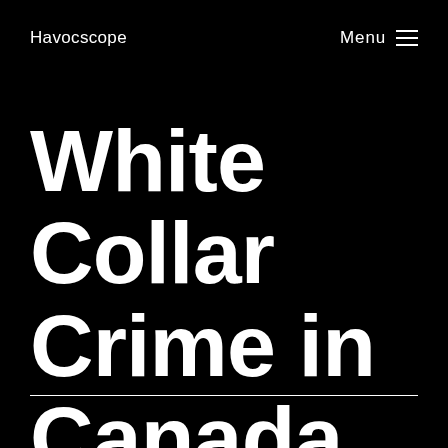Havocscope   Menu ≡
White Collar Crime in Canada